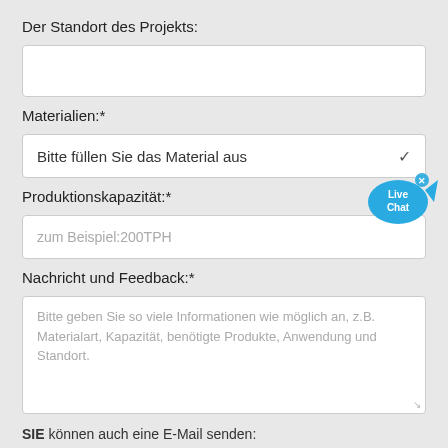Der Standort des Projekts:
(text input field)
Materialien:*
Bitte füllen Sie das Material aus (dropdown)
Produktionskapazität:*
zum Beispiel:200TPH (input placeholder)
Nachricht und Feedback:*
Bitte geben Sie so viele Informationen wie möglich an, z.B. Materialart, Kapazität, benötigte Produkte, Anwendung und Standort.
SIE können auch eine E-Mail senden: inquiry@shanghaimeilan.comWir geben keine Kundeninformationen weiter und hassen Spam.
(submit button)